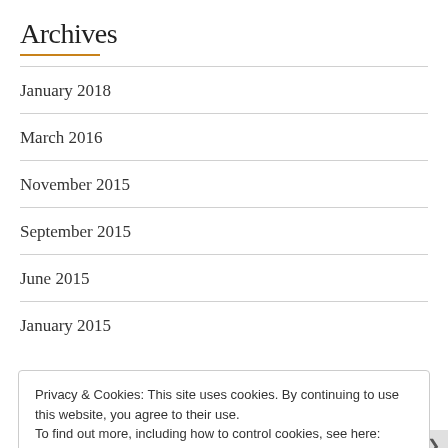Archives
January 2018
March 2016
November 2015
September 2015
June 2015
January 2015
Privacy & Cookies: This site uses cookies. By continuing to use this website, you agree to their use.
To find out more, including how to control cookies, see here: Cookie Policy